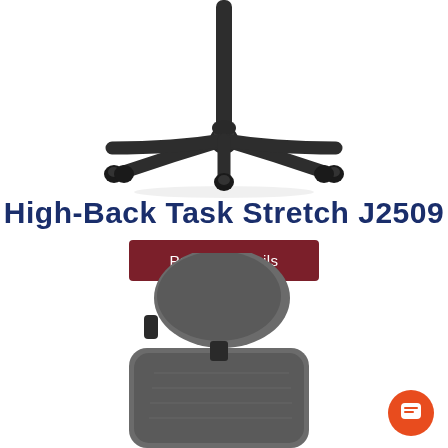[Figure (photo): Top-down view of a black five-star chair base with casters on a white background]
High-Back Task Stretch J2509
Product Details
[Figure (photo): Close-up of a grey upholstered high-back office chair headrest and upper back rest]
[Figure (other): Orange circular chat/support button icon in the bottom-right corner]